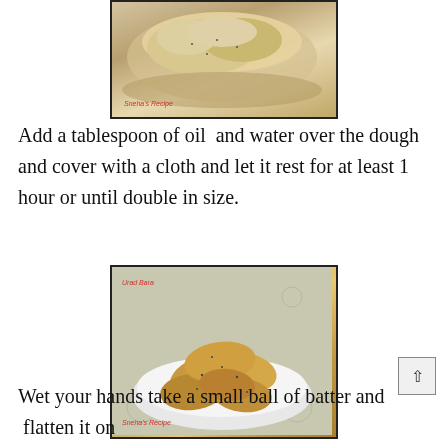[Figure (photo): Photo of dough in a clear bowl, watermarked 'Sneha's Recipe']
Add a tablespoon of oil  and water over the dough and cover with a cloth and let it rest for at least 1 hour or until double in size.
[Figure (photo): Photo of Urad Bara (fried lentil fritters) piled on a white plate on a decorative cloth, watermarked 'Urad Bara' and 'Sneha's Recipe']
Wet your hands take a small ball of batter and  flatten it on